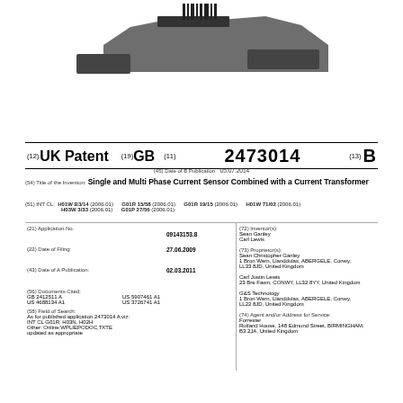[Figure (illustration): Patent cover diagram showing transformer/sensor device silhouette at top of page]
(12) UK Patent  (19) GB  (11) 2473014  (13) B
(45) Date of B Publication: 05.07.2014
(54) Title of the Invention: Single and Multi Phase Current Sensor Combined with a Current Transformer
(51) INT CL: H01W B3/14 (2006.01) G01R 15/58 (2006.01) G01R 19/15 (2006.01) H01W 71/02 (2006.01) H03W 3/33 (2006.01) G01P 27/56 (2006.01)
(21) Application No.: 09143153.8
(22) Date of Filing: 27.06.2009
(43) Date of A Publication: 02.03.2011
(56) Documents Cited: GB 2412511 A  US 5907461 A1  US 4688134 A1  US 3726741 A1
(58) Field of Search: As for published application 2473014 A viz: INT CL G01R, H03N, H02H Other: Online:WPLIEPODOC,TXTE updated as appropriate
(72) Inventor(s): Sean Ganley  Carl Lewis
(73) Proprietor(s): Sean Christopher Ganley  1 Bron Wern, Llanddulas, ABERGELE, Conwy, LL33 8JD, United Kingdom  Carl Justin Lewis  23 Bre Fawn, CONWY, LL32 8YY, United Kingdom  G&S Technology  1 Bron Wern, Llanddulas, ABERGELE, Conwy, LL22 8JD, United Kingdom
(74) Agent and/or Address for Service: Forrester  Rutland House, 148 Edmund Street, BIRMINGHAM, B3 2JA, United Kingdom